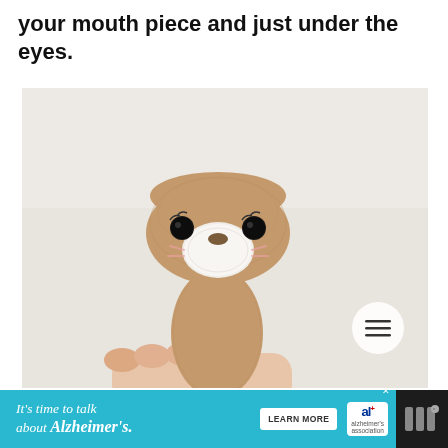your mouth piece and just under the eyes.
[Figure (photo): Close-up photo of a crocheted amigurumi animal (otter or bear) being held in a hand. The stuffed animal has a tan/brown body, white muzzle area, small black safety eyes with embroidered eyelashes, and a small brown nose. There is a circular hamburger menu button (three horizontal lines) overlaid in the bottom right corner of the photo.]
It's time to talk about Alzheimer's. LEARN MORE [Alzheimer's Association logo]